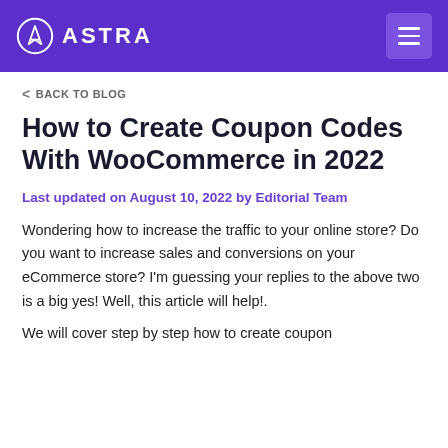ASTRA
< BACK TO BLOG
How to Create Coupon Codes With WooCommerce in 2022
Last updated on August 10, 2022 by Editorial Team
Wondering how to increase the traffic to your online store? Do you want to increase sales and conversions on your eCommerce store? I'm guessing your replies to the above two is a big yes! Well, this article will help!.
We will cover step by step how to create coupon